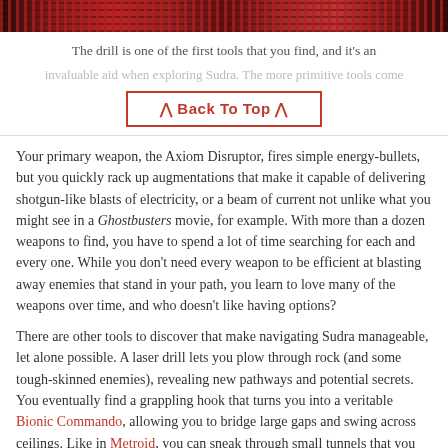[Figure (photo): Top banner image showing a dark red/maroon game environment with pixelated or bead-like patterns in reds and dark tones]
The drill is one of the first tools that you find, and it's an
invaluable aid when exploring... [faded/background text]
^ Back To Top ^
Your primary weapon, the Axiom Disruptor, fires simple energy-bullets, but you quickly rack up augmentations that make it capable of delivering shotgun-like blasts of electricity, or a beam of current not unlike what you might see in a Ghostbusters movie, for example. With more than a dozen weapons to find, you have to spend a lot of time searching for each and every one. While you don't need every weapon to be efficient at blasting away enemies that stand in your path, you learn to love many of the weapons over time, and who doesn't like having options?
There are other tools to discover that make navigating Sudra manageable, let alone possible. A laser drill lets you plow through rock (and some tough-skinned enemies), revealing new pathways and potential secrets. You eventually find a grappling hook that turns you into a veritable Bionic Commando, allowing you to bridge large gaps and swing across ceilings. Like in Metroid, you can sneak through small tunnels that you find, but not by morphing into a ball. Rather, you find a drone that can do the exploring for you. It has its own life bar and some modest